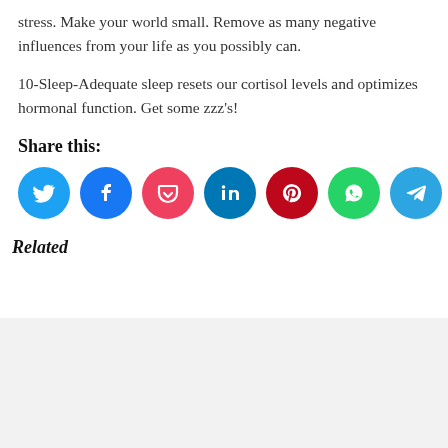stress. Make your world small. Remove as many negative influences from your life as you possibly can.
10-Sleep-Adequate sleep resets our cortisol levels and optimizes hormonal function. Get some zzz's!
Share this:
[Figure (infographic): Row of 8 social sharing icon circles: Twitter (cyan), Facebook (blue), Pocket (red-pink), LinkedIn (dark blue), Pinterest (dark red), WhatsApp (green), Telegram (blue), Email (light gray)]
Related
[Figure (other): Light gray related content placeholder box at the bottom of the page]